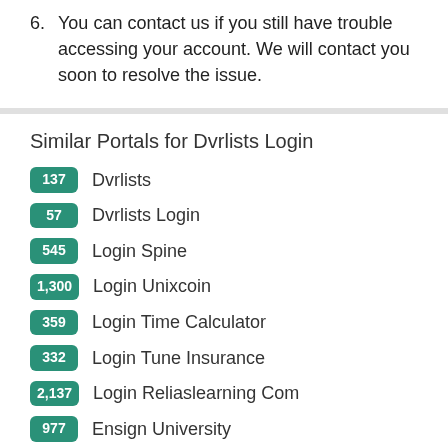6. You can contact us if you still have trouble accessing your account. We will contact you soon to resolve the issue.
Similar Portals for Dvrlists Login
137  Dvrlists
57  Dvrlists Login
545  Login Spine
1,300  Login Unixcoin
359  Login Time Calculator
332  Login Tune Insurance
2,137  Login Reliaslearning Com
977  Ensign University